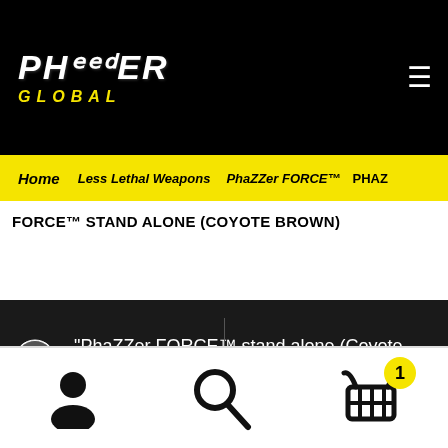PhaZZer GLOBAL
Home | Less Lethal Weapons | PhaZZer FORCE™ | PHAZZ FORCE™ STAND ALONE (COYOTE BROWN)
FORCE™ STAND ALONE (COYOTE BROWN)
"PhaZZer FORCE™ stand alone (Coyote Brown)" has been added to your cart.